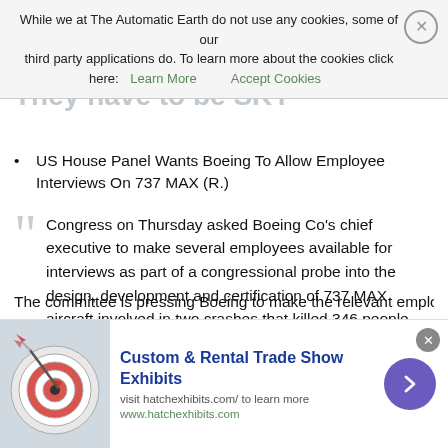While we at The Automatic Earth do not use any cookies, some of our third party applications do. To learn more about the cookies click here: Learn More  Accept Cookies
US House Panel Wants Boeing To Allow Employee Interviews On 737 MAX (R.)
Congress on Thursday asked Boeing Co’s chief executive to make several employees available for interviews as part of a congressional probe into the design, development and certification of 737 MAX aircraft involved in two crashes that killed 346 people. House of Representatives Transportation Committee Chairman Peter DeFazio and Representative Rick Larsen, who chairs the aviation subcommittee, said in a statement that while Boeing has provided substantial documents and shared senior management’s perspective, “it’s important to the committee’s investigation to hear from relevant Boeing employees.”
Custom & Rental Trade Show Exhibits  visit hatchexhibits.com/ to learn more  www.hatchexhibits.com